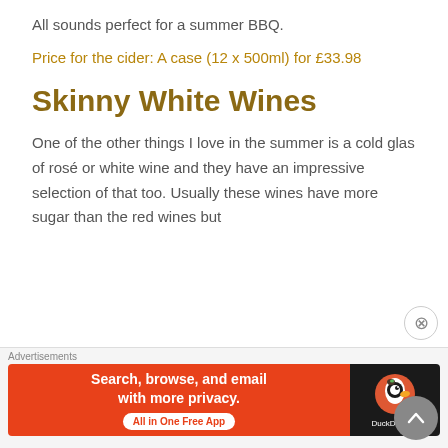All sounds perfect for a summer BBQ.
Price for the cider: A case (12 x 500ml) for £33.98
Skinny White Wines
One of the other things I love in the summer is a cold glas of rosé or white wine and they have an impressive selection of that too. Usually these wines have more sugar than the red wines but
[Figure (other): Advertisement banner for DuckDuckGo app: 'Search, browse, and email with more privacy. All in One Free App' with DuckDuckGo logo on dark background]